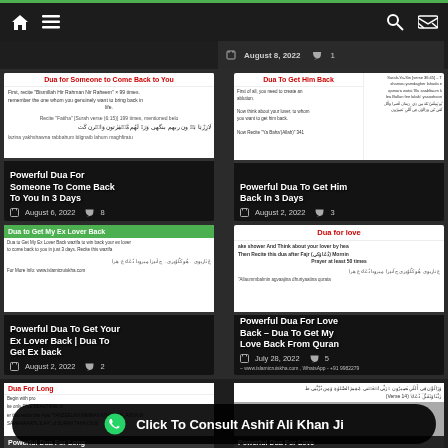Navigation bar with home, menu, search, shuffle icons
[Figure (screenshot): Partial card top - August 8, 2022 with 1 comment]
[Figure (screenshot): Card: Dua for Someone to Come Back to You - Powerful Dua For Someone To Come Back To You In 3 Days - August 6, 2022 - 8 comments]
[Figure (screenshot): Card: Dua To Get Him Back - Powerful Dua To Get Him Back In 3 Days - August 2, 2022 - 3 comments]
[Figure (screenshot): Card: Dua to Get My Ex Lover Back - Powerful Dua To Get Your Ex Lover Back | Dua To Get Ex back - August 2, 2022 - 2 comments]
[Figure (screenshot): Card: Dua for love - Powerful Dua For Love Back – Dua To Get My Love Back From Quran - July 28, 2022 - 5 comments]
[Figure (screenshot): Partial bottom cards: Dua For Long - Powerful Dua For Love]
Click To Consult Ashif Ali Khan Ji